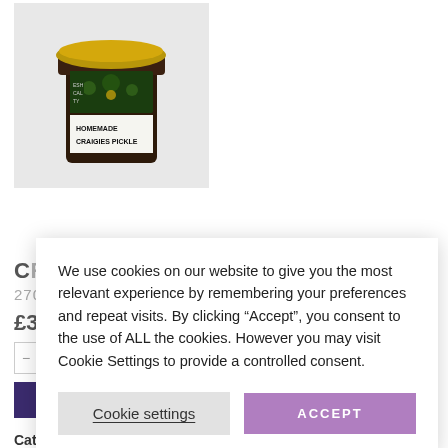[Figure (photo): A jar of Craigie's Homemade Craigies Pickle with a dark green floral label and gold lid, on a white/grey background.]
CRAIGIES PICKLE
270GMS
£3.99
We use cookies on our website to give you the most relevant experience by remembering your preferences and repeat visits. By clicking “Accept”, you consent to the use of ALL the cookies. However you may visit Cookie Settings to provide a controlled consent.
Cookie settings
ACCEPT
Category: Chutneys